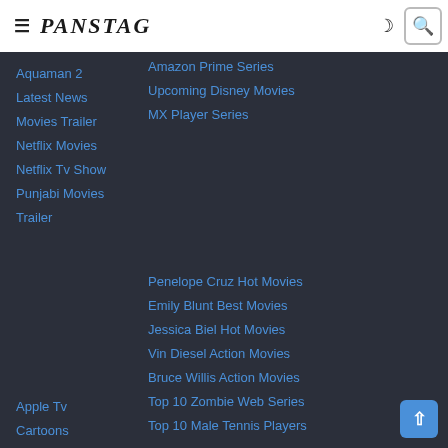≡ PANSTAG 🌙 🔍
Amazon Prime Series
Upcoming Disney Movies
MX Player Series
Aquaman 2
Latest News
Movies Trailer
Netflix Movies
Netflix Tv Show
Punjabi Movies Trailer
Penelope Cruz Hot Movies
Emily Blunt Best Movies
Jessica Biel Hot Movies
Vin Diesel Action Movies
Bruce Willis Action Movies
Top 10 Zombie Web Series
Top 10 Male Tennis Players
Apple Tv
Cartoons